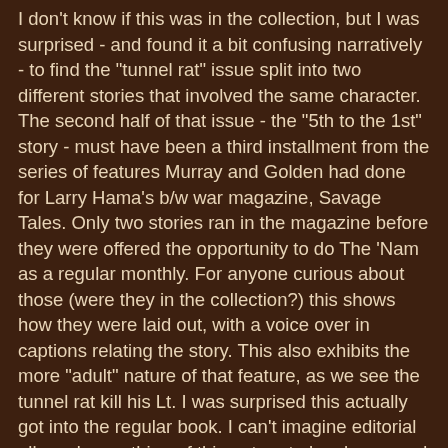I don't know if this was in the collection, but I was surprised - and found it a bit confusing narratively - to find the "tunnel rat" issue split into two different stories that involved the same character. The second half of that issue - the "5th to the 1st" story - must have been a third installment from the series of features Murray and Golden had done for Larry Hama's b/w war magazine, Savage Tales. Only two stories ran in the magazine before they were offered the opportunity to do The 'Nam as a regular monthly. For anyone curious about those (were they in the collection?) this shows how they were laid out, with a voice over in captions relating the story. This also exhibits the more "adult" nature of that feature, as we see the tunnel rat kill his Lt. I was surprised this actually got into the regular book. I can't imagine editorial allowed something of this nature to be showcased again in the run, though I admit I could be wrong on that count. It would have been nice if they'd been given the freedom to tackle some more of these problems in the book, but there were too many interests involved to allow such a thing - and, of course, sales to be considered.
finally, Mike Golden's art. There were many readers who felt